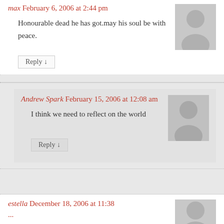max February 6, 2006 at 2:44 pm
Honourable dead he has got.may his soul be with peace.
Reply ↓
Andrew Spark February 15, 2006 at 12:08 am
I think we need to reflect on the world
Reply ↓
estella December 18, 2006 at 11:38...